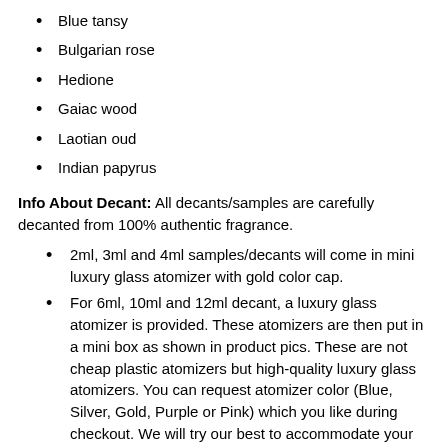Blue tansy
Bulgarian rose
Hedione
Gaiac wood
Laotian oud
Indian papyrus
Info About Decant: All decants/samples are carefully decanted from 100% authentic fragrance.
2ml, 3ml and 4ml samples/decants will come in mini luxury glass atomizer with gold color cap.
For 6ml, 10ml and 12ml decant, a luxury glass atomizer is provided. These atomizers are then put in a mini box as shown in product pics. These are not cheap plastic atomizers but high-quality luxury glass atomizers. You can request atomizer color (Blue, Silver, Gold, Purple or Pink) which you like during checkout. We will try our best to accommodate your request.
1ml sample will come in mini glass vial. It does not have a spray.